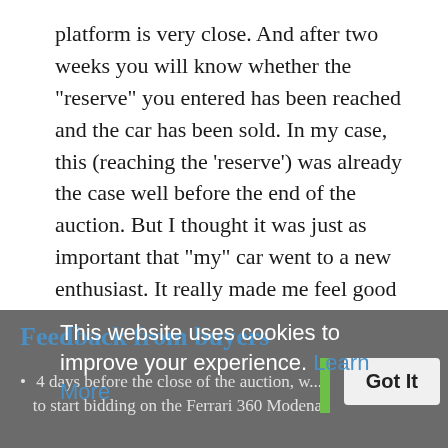platform is very close. And after two weeks you will know whether the "reserve" you entered has been reached and the car has been sold. In my case, this (reaching the 'reserve') was already the case well before the end of the auction. But I thought it was just as important that "my" car went to a new enthusiast. It really made me feel good to see another fan get away with it. And everything within 4 weeks. It doesn't get much easier. "- Paul - BMW 328 Ci.
Feedback from buyers
4 days before the close of the auction, w... to start bidding on the Ferrari 360 Modena.